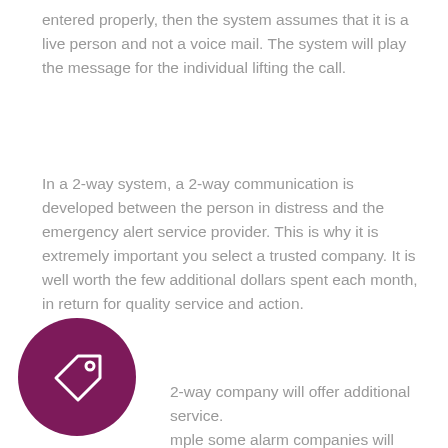entered properly, then the system assumes that it is a live person and not a voice mail. The system will play the message for the individual lifting the call.
In a 2-way system, a 2-way communication is developed between the person in distress and the emergency alert service provider. This is why it is extremely important you select a trusted company. It is well worth the few additional dollars spent each month, in return for quality service and action.
[Figure (illustration): Dark magenta/purple circle icon with a price tag outline symbol in white]
2-way company will offer additional service. mple some alarm companies will pull up medical records of the client to identify if he has